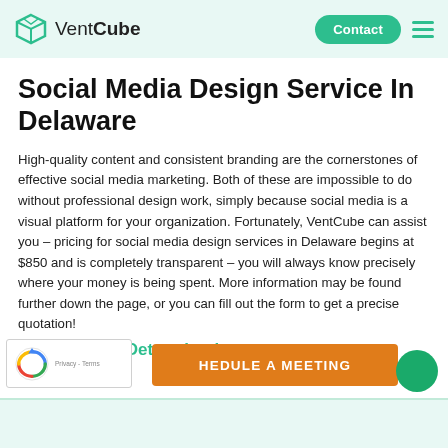VentCube | Contact | Navigation menu
Social Media Design Service In Delaware
High-quality content and consistent branding are the cornerstones of effective social media marketing. Both of these are impossible to do without professional design work, simply because social media is a visual platform for your organization. Fortunately, VentCube can assist you – pricing for social media design services in Delaware begins at $850 and is completely transparent – you will always know precisely where your money is being spent. More information may be found further down the page, or you can fill out the form to get a precise quotation!
Innovation & Determination
[Figure (other): reCAPTCHA widget with Privacy and Terms links]
HEDULE A MEETING